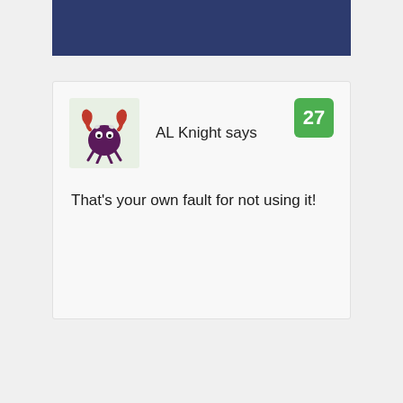[Figure (illustration): Dark navy blue banner at top of page, partially cut off, with white text visible at top edge]
[Figure (illustration): Comment card with light background. Contains a cartoon crab/monster avatar on green background, username 'AL Knight says', green badge with number 27, and comment text.]
AL Knight says
27
That's your own fault for not using it!